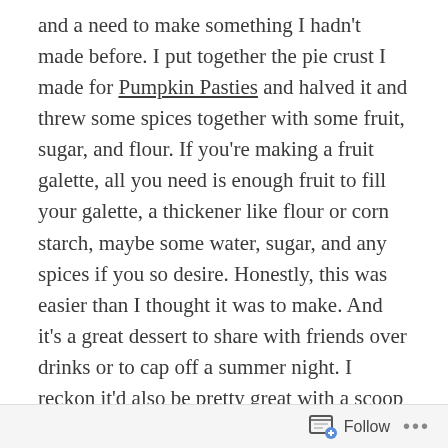and a need to make something I hadn't made before. I put together the pie crust I made for Pumpkin Pasties and halved it and threw some spices together with some fruit, sugar, and flour. If you're making a fruit galette, all you need is enough fruit to fill your galette, a thickener like flour or corn starch, maybe some water, sugar, and any spices if you so desire. Honestly, this was easier than I thought it was to make. And it's a great dessert to share with friends over drinks or to cap off a summer night. I reckon it'd also be pretty great with a scoop of ice cream.
Continue reading →
Follow ···